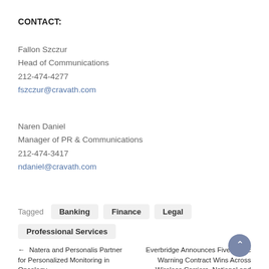CONTACT:
Fallon Szczur
Head of Communications
212-474-4277
fszczur@cravath.com
Naren Daniel
Manager of PR & Communications
212-474-3417
ndaniel@cravath.com
Tagged   Banking   Finance   Legal   Professional Services
← Natera and Personalis Partner for Personalized Monitoring in Oncology
Everbridge Announces Five Public Warning Contract Wins Across Wireless Carriers, National and